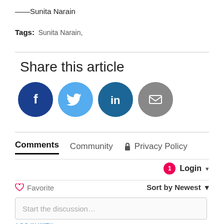——Sunita Narain
Tags: Sunita Narain,
Share this article
[Figure (infographic): Four social sharing icons: Facebook (dark blue), Twitter (light blue), LinkedIn (dark teal), Email (gray)]
Comments  Community  Privacy Policy
1  Login
Favorite  Sort by Newest
Start the discussion…
LOG IN WITH